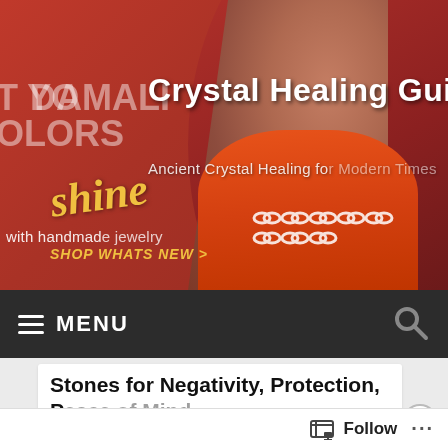[Figure (screenshot): Hero banner for DAMALI jewelry website with red background, woman in orange dress, crystal chain link icons overlay, and text 'Crystal Healing Guide', 'Ancient Crystal Healing for Modern Times']
≡ MENU
Stones for Negativity, Protection, Peace of Mind
Advertisements
Search, browse, and email
Follow ...